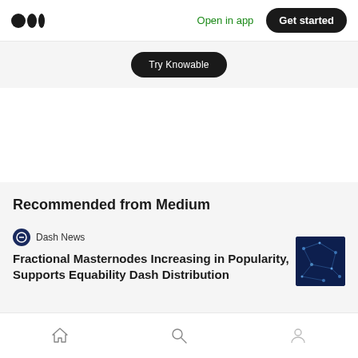Medium logo | Open in app | Get started
[Figure (screenshot): Try Knowable button (partially cropped at top)]
Recommended from Medium
Dash News
Fractional Masternodes Increasing in Popularity, Supports Equability Dash Distribution
[Figure (photo): Blue network/map image thumbnail for Dash article]
What the Blxck?!
[Figure (photo): Partially visible thumbnail for What the Blxck article]
Bottom navigation: Home, Search, Profile